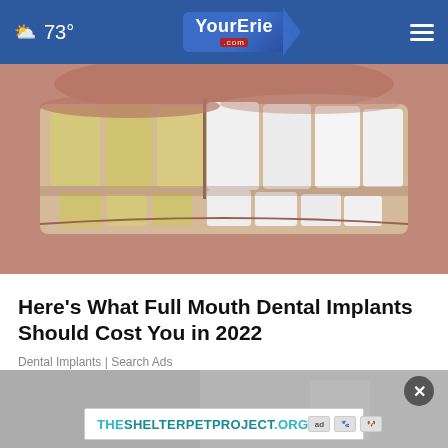73° YourErie.com
[Figure (photo): Close-up photo of a mouth showing teeth, with left side showing yellowed/older teeth and right side showing bright white dental implants or veneers — a before/after dental comparison.]
Here's What Full Mouth Dental Implants Should Cost You in 2022
Dental Implants | Search Ads
[Figure (photo): Bottom portion of page showing a partially visible bathroom/room background image with a modal ad overlay. The ad shows a close button (X) and a banner for THESHELTERPETPROJECT.ORG with ad choice icons.]